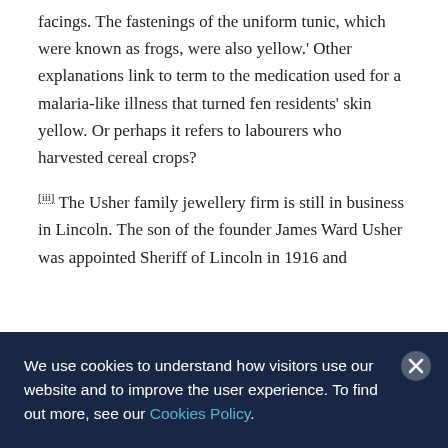facings. The fastenings of the uniform tunic, which were known as frogs, were also yellow.' Other explanations link to term to the medication used for a malaria-like illness that turned fen residents' skin yellow. Or perhaps it refers to labourers who harvested cereal crops?
[iii] The Usher family jewellery firm is still in business in Lincoln. The son of the founder James Ward Usher was appointed Sheriff of Lincoln in 1916 and
We use cookies to understand how visitors use our website and to improve the user experience. To find out more, see our Cookies Policy.